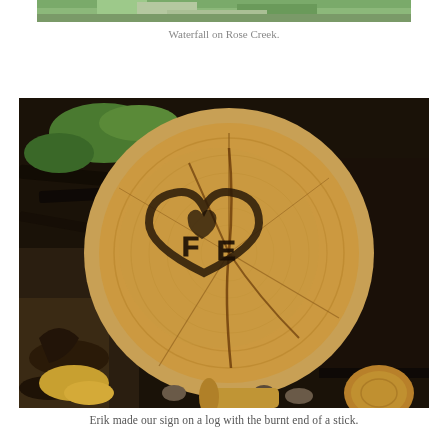[Figure (photo): Partial top edge of a photo showing a waterfall on Rose Creek — mostly cropped, only the very bottom strip is visible.]
Waterfall on Rose Creek.
[Figure (photo): A large cut log end showing the circular grain pattern with a heart shape and initials carved or drawn with the burnt end of a stick. The log sits in a clearing with burnt/charred wood debris and rocks around it.]
Erik made our sign on a log with the burnt end of a stick.